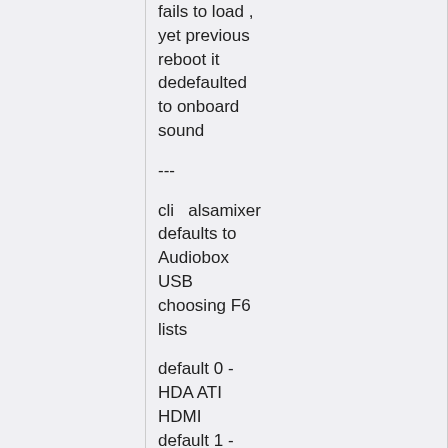fails to load , yet previous reboot it dedefaulted to onboard sound
---
cli   alsamixer defaults to Audiobox USB choosing F6 lists
default 0 - HDA ATI HDMI default 1 - HD-Audio Generic default 2 - Audiobox USB